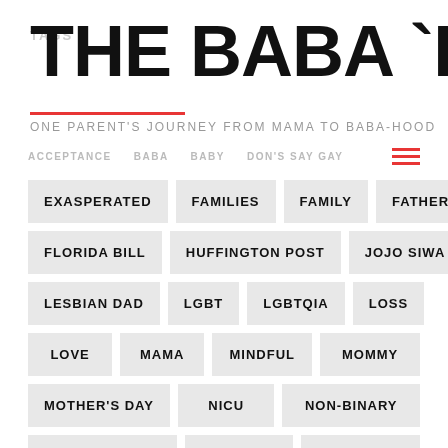TAGS
THE BABA `HOOD
ONE PARENT'S JOURNEY FROM MAMA TO BABA-HOOD
ACCEPTANCE
BABA
BABY
DON'S SAY GAY
EXASPERATED
FAMILIES
FAMILY
FATHER
FLORIDA BILL
HUFFINGTON POST
JOJO SIWA
LESBIAN DAD
LGBT
LGBTQIA
LOSS
LOVE
MAMA
MINDFUL
MOMMY
MOTHER'S DAY
NICU
NON-BINARY
OTHER MOTHER
PARENT
PATIENCE